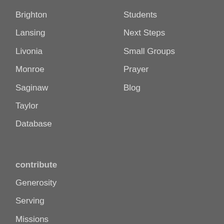Brighton
Lansing
Livonia
Monroe
Saginaw
Taylor
Database
Students
Next Steps
Small Groups
Prayer
Blog
contribute
Generosity
Serving
Missions